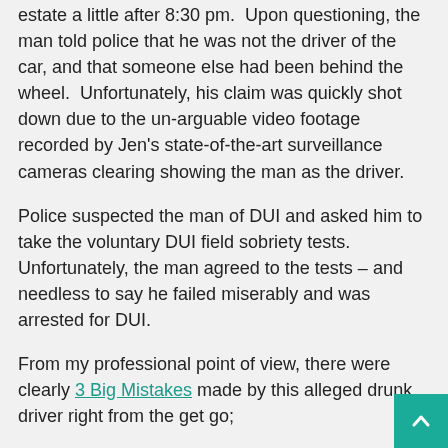estate a little after 8:30 pm. Upon questioning, the man told police that he was not the driver of the car, and that someone else had been behind the wheel. Unfortunately, his claim was quickly shot down due to the un-arguable video footage recorded by Jen's state-of-the-art surveillance cameras clearing showing the man as the driver.
Police suspected the man of DUI and asked him to take the voluntary DUI field sobriety tests. Unfortunately, the man agreed to the tests – and needless to say he failed miserably and was arrested for DUI.
From my professional point of view, there were clearly 3 Big Mistakes made by this alleged drunk driver right from the get go;
1. He failed to immediately contact his DUI criminal defense lawyer. When in any type of accident related to drunk driving...